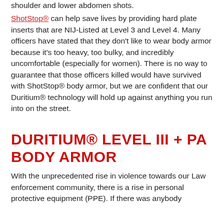shoulder and lower abdomen shots.
ShotStop® can help save lives by providing hard plate inserts that are NIJ-Listed at Level 3 and Level 4. Many officers have stated that they don't like to wear body armor because it's too heavy, too bulky, and incredibly uncomfortable (especially for women). There is no way to guarantee that those officers killed would have survived with ShotStop® body armor, but we are confident that our Duritium® technology will hold up against anything you run into on the street.
DURITIUM® LEVEL III + PA BODY ARMOR
With the unprecedented rise in violence towards our Law enforcement community, there is a rise in personal protective equipment (PPE). If there was anybody